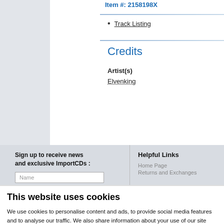Item #: 2158198X
Track Listing
Credits
Artist(s)
Elvenking
Sign up to receive news and exclusive ImportCDs :
Helpful Links
Home Page
Returns and Exchanges
This website uses cookies
We use cookies to personalise content and ads, to provide social media features and to analyse our traffic. We also share information about your use of our site with our social media, advertising and analytics partners who may combine it with other information that you've provided to them or that they've collected from your use of their services.
OK
Show details